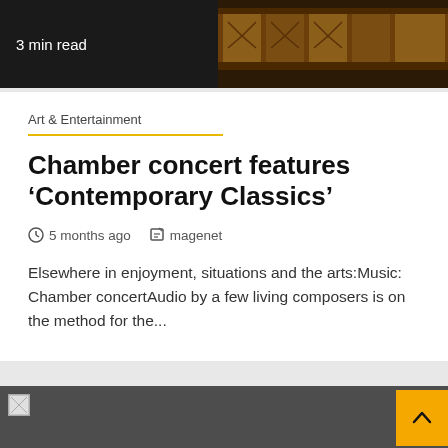3 min read
Art & Entertainment
Chamber concert features 'Contemporary Classics'
5 months ago   magenet
Elsewhere in enjoyment, situations and the arts:Music: Chamber concertAudio by a few living composers is on the method for the...
[Figure (photo): Dark section at bottom of page with broken image placeholder and yellow scroll-to-top button]